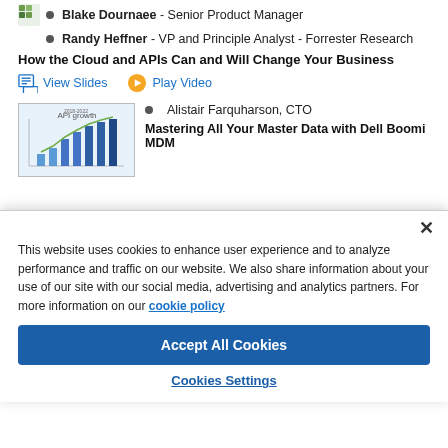Blake Dournaee - Senior Product Manager
Randy Heffner - VP and Principle Analyst - Forrester Research
How the Cloud and APIs Can and Will Change Your Business
View Slides | Play Video
Alistair Farquharson, CTO
Mastering All Your Master Data with Dell Boomi MDM
This website uses cookies to enhance user experience and to analyze performance and traffic on our website. We also share information about your use of our site with our social media, advertising and analytics partners. For more information on our cookie policy
Accept All Cookies
Cookies Settings